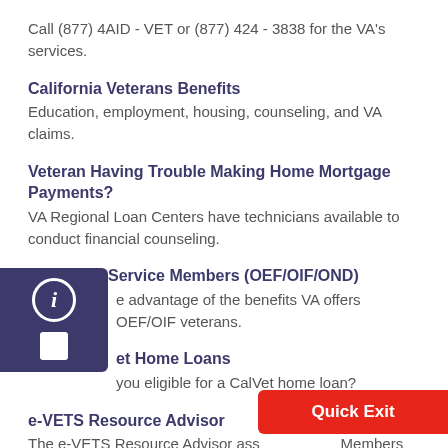Call (877) 4AID - VET or (877) 424 - 3838 for the VA's services.
California Veterans Benefits
Education, employment, housing, counseling, and VA claims.
Veteran Having Trouble Making Home Mortgage Payments?
VA Regional Loan Centers have technicians available to conduct financial counseling.
Returning Service Members (OEF/OIF/OND)
Take advantage of the benefits VA offers OEF/OIF veterans.
CalVet Home Loans
Are you eligible for a CalVet home loan?
e-VETS Resource Advisor
The e-VETS Resource Advisor assists Service Members and all those who support them to quickly